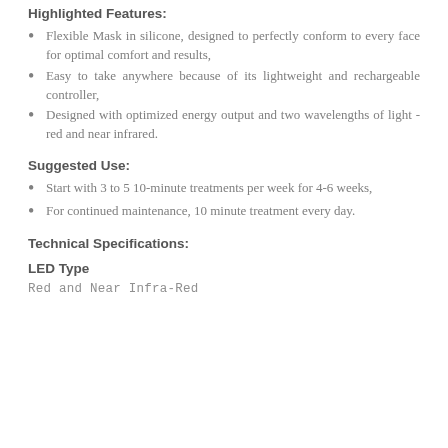Highlighted Features:
Flexible Mask in silicone, designed to perfectly conform to every face for optimal comfort and results,
Easy to take anywhere because of its lightweight and rechargeable controller,
Designed with optimized energy output and two wavelengths of light - red and near infrared.
Suggested Use:
Start with 3 to 5 10-minute treatments per week for 4-6 weeks,
For continued maintenance, 10 minute treatment every day.
Technical Specifications:
LED Type
Red and Near Infra-Red